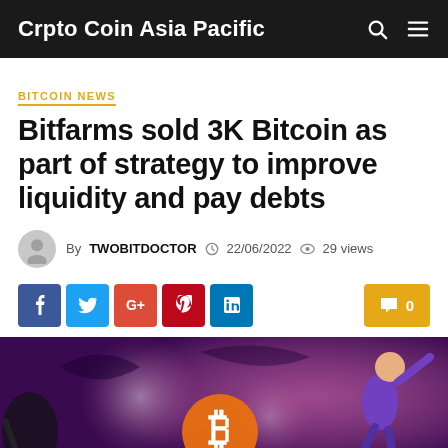Crpto Coin Asia Pacific
BITCOIN NEWS
Bitfarms sold 3K Bitcoin as part of strategy to improve liquidity and pay debts
By TWOBITDOCTOR  22/06/2022  29 views
[Figure (illustration): Colorful illustration showing animated characters in action against a purple/pink background, related to Bitcoin/crypto theme]
Social share buttons: Facebook, Twitter, Google+, Pinterest, LinkedIn. Comment count: 0